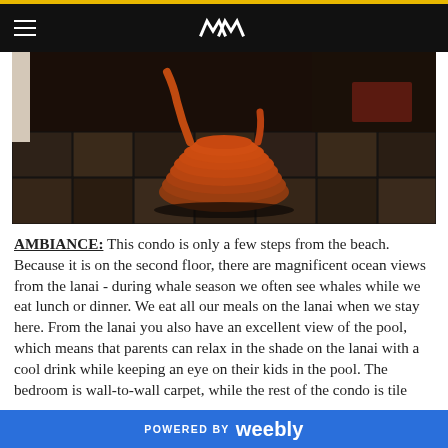Navigation bar with hamburger menu and logo
[Figure (photo): A coiled copper or orange hose/tube sitting on a dark tile floor in an indoor setting]
AMBIANCE: This condo is only a few steps from the beach. Because it is on the second floor, there are magnificent ocean views from the lanai - during whale season we often see whales while we eat lunch or dinner. We eat all our meals on the lanai when we stay here. From the lanai you also have an excellent view of the pool, which means that parents can relax in the shade on the lanai with a cool drink while keeping an eye on their kids in the pool. The bedroom is wall-to-wall carpet, while the rest of the condo is tile
POWERED BY weebly